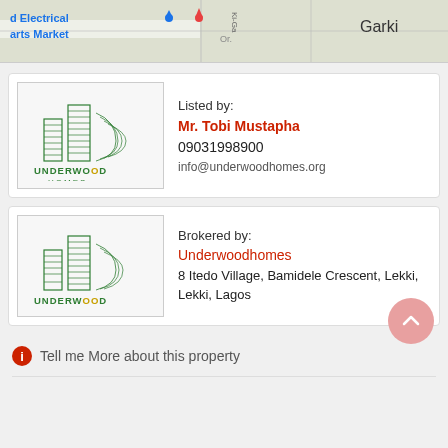[Figure (map): Partial map screenshot showing 'Electrical Parts Market' and 'Garki' label with map pins]
[Figure (logo): Underwood Homes logo with green building illustration and text 'UNDERWOOD HOMES']
Listed by:
Mr. Tobi Mustapha
09031998900
info@underwoodhomes.org
[Figure (logo): Underwood logo with green building illustration and text 'UNDERWOOD']
Brokered by:
Underwoodhomes
8 Itedo Village, Bamidele Crescent, Lekki, Lekki, Lagos
Tell me More about this property